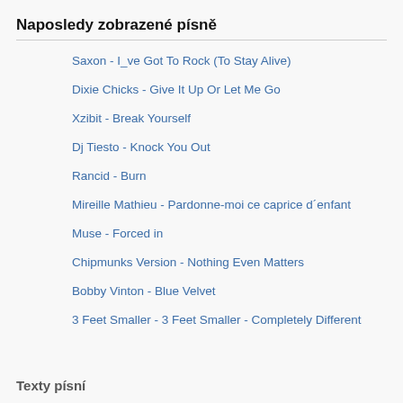Naposledy zobrazené písně
Saxon - I_ve Got To Rock (To Stay Alive)
Dixie Chicks - Give It Up Or Let Me Go
Xzibit - Break Yourself
Dj Tiesto - Knock You Out
Rancid - Burn
Mireille Mathieu - Pardonne-moi ce caprice d´enfant
Muse - Forced in
Chipmunks Version - Nothing Even Matters
Bobby Vinton - Blue Velvet
3 Feet Smaller - 3 Feet Smaller - Completely Different
Texty písní